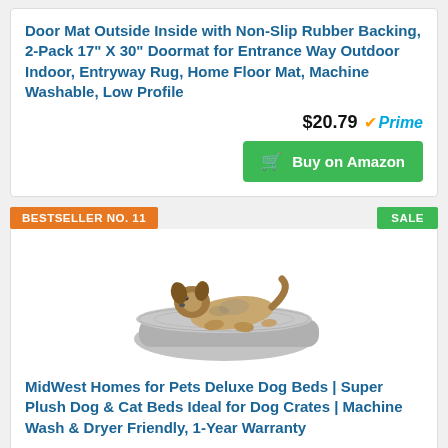Door Mat Outside Inside with Non-Slip Rubber Backing, 2-Pack 17" X 30" Doormat for Entrance Way Outdoor Indoor, Entryway Rug, Home Floor Mat, Machine Washable, Low Profile
$20.79 Prime
Buy on Amazon
BESTSELLER NO. 11
SALE
[Figure (photo): A dog lying on a gray pet bed/mat]
MidWest Homes for Pets Deluxe Dog Beds | Super Plush Dog & Cat Beds Ideal for Dog Crates | Machine Wash & Dryer Friendly, 1-Year Warranty